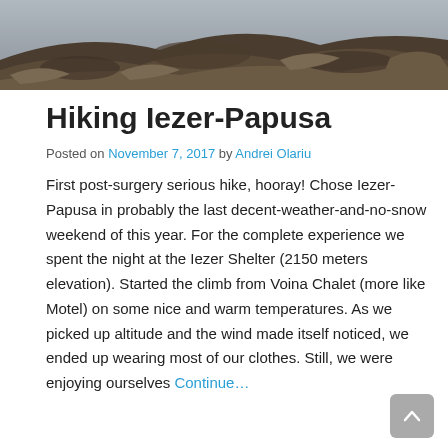[Figure (photo): Mountain landscape photo showing rocky terrain with brown and grey tones at the top of the page]
Hiking Iezer-Papusa
Posted on November 7, 2017 by Andrei Olariu
First post-surgery serious hike, hooray! Chose Iezer-Papusa in probably the last decent-weather-and-no-snow weekend of this year. For the complete experience we spent the night at the Iezer Shelter (2150 meters elevation). Started the climb from Voina Chalet (more like Motel) on some nice and warm temperatures. As we picked up altitude and the wind made itself noticed, we ended up wearing most of our clothes. Still, we were enjoying ourselves Continue…